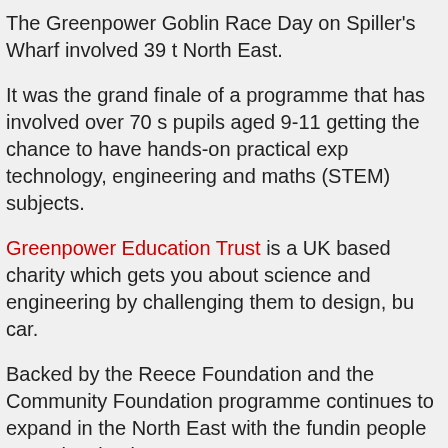The Greenpower Goblin Race Day on Spiller's Wharf involved 39 t North East.
It was the grand finale of a programme that has involved over 70 s pupils aged 9-11 getting the chance to have hands-on practical exp technology, engineering and maths (STEM) subjects.
Greenpower Education Trust is a UK based charity which gets you about science and engineering by challenging them to design, bu car.
Backed by the Reece Foundation and the Community Foundation programme continues to expand in the North East with the fundin people to get involved.
Organisers hope it will help to tackle the region's engineering skil people to understand what the job involves and the exciting oppo subjects can bring.
The UK Commission for Employment and Skills projects that uniqu